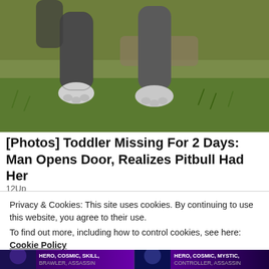[Figure (photo): Close-up of a dog's legs and paws on grass with dirt/rock background]
[Photos] Toddler Missing For 2 Days: Man Opens Door, Realizes Pitbull Had Her
12Up
[Figure (screenshot): Marvel Strike Force banner advertisement featuring Thor: Love and Thunder themed characters]
Privacy & Cookies: This site uses cookies. By continuing to use this website, you agree to their use.
To find out more, including how to control cookies, see here:
Cookie Policy
Close and accept
[Figure (screenshot): Bottom portion of Marvel Strike Force advertisement showing hero categories: HERO, COSMIC, SKILL, BRAWLER, ASSASSIN and HERO, COSMIC, MYSTIC, CONTROLLER, ASSASSIN]